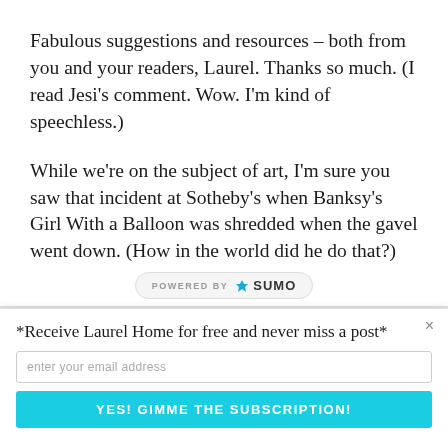Fabulous suggestions and resources – both from you and your readers, Laurel. Thanks so much. (I read Jesi's comment. Wow. I'm kind of speechless.)
While we're on the subject of art, I'm sure you saw that incident at Sotheby's when Banksy's Girl With a Balloon was shredded when the gavel went down. (How in the world did he do that?)
[Figure (logo): POWERED BY SUMO badge with crown icon]
×
*Receive Laurel Home for free and never miss a post*
enter your email address
YES! GIMME THE SUBSCRIPTION!